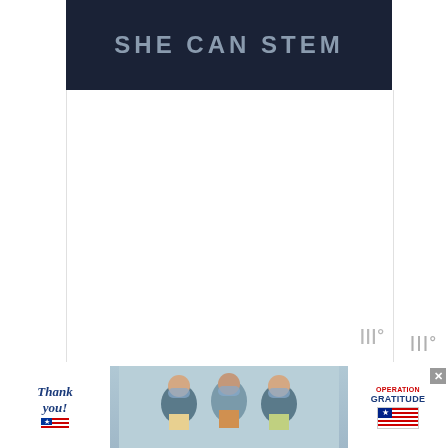[Figure (screenshot): SHE CAN STEM banner/logo on dark navy background with light gray textured text]
[Figure (screenshot): Video player area, white/blank content area with a watermark icon (WIII° style) in lower right corner]
Did I mention he brings me bacon too?
Yo                                    ws,
[Figure (screenshot): Advertisement banner: Thank you note with flag graphic on left, nurses in scrubs holding cards in center, Operation Gratitude logo on right, with X close button]